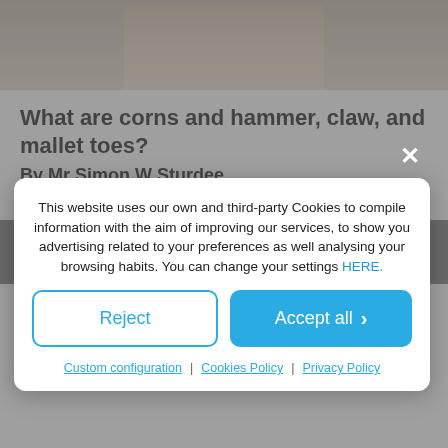[Figure (photo): Close-up photo of toes/foot, partially visible at top of page]
What are corns and hammer, claw, and mallet toes?
By Mr Simon W Sturdee
2022-08-29
The stress we put on our feet often shows
This website uses our own and third-party Cookies to compile information with the aim of improving our services, to show you advertising related to your preferences as well analysing your browsing habits. You can change your settings HERE.
Reject
Accept all
Custom configuration | Cookies Policy | Privacy Policy